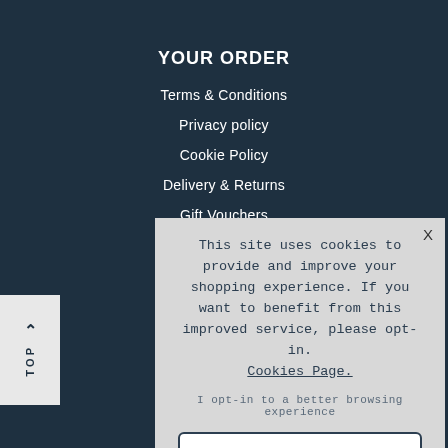YOUR ORDER
Terms & Conditions
Privacy policy
Cookie Policy
Delivery & Returns
Gift Vouchers
This site uses cookies to provide and improve your shopping experience. If you want to benefit from this improved service, please opt-in. Cookies Page.
I opt-in to a better browsing experience
ACCEPT COOKIES